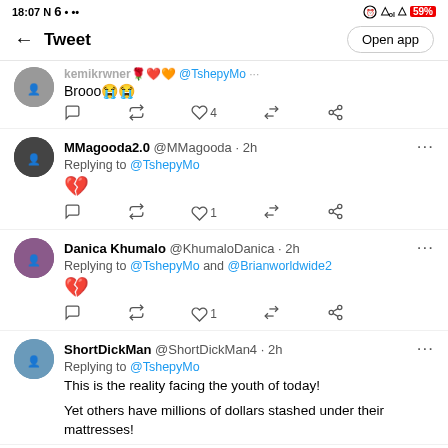18:07  N  •  ••   59%
← Tweet   Open app
Brooo😭😭
MMagooda2.0 @MMagooda · 2h
Replying to @TshepyMo
💔
Danica Khumalo @KhumaloDanica · 2h
Replying to @TshepyMo and @Brianworldwide2
💔
ShortDickMan @ShortDickMan4 · 2h
Replying to @TshepyMo
This is the reality facing the youth of today!

Yet others have millions of dollars stashed under their mattresses!